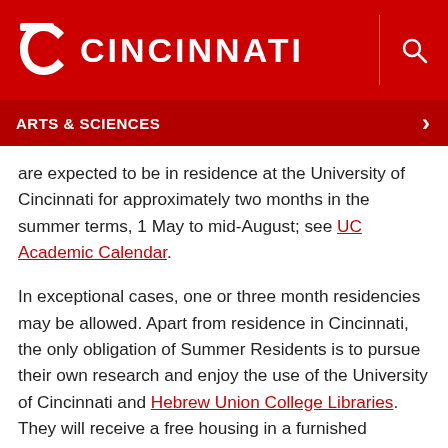UC CINCINNATI
ARTS & SCIENCES
are expected to be in residence at the University of Cincinnati for approximately two months in the summer terms, 1 May to mid-August; see UC Academic Calendar.
In exceptional cases, one or three month residencies may be allowed. Apart from residence in Cincinnati, the only obligation of Summer Residents is to pursue their own research and enjoy the use of the University of Cincinnati and Hebrew Union College Libraries. They will receive a free housing in a furnished apartment near campus, and office space in the Burnam Classics Library, but no further funding.
There is a separate Tytus Visiting Scholars Program for more senior scholars wishing to do research in Cincinnati during